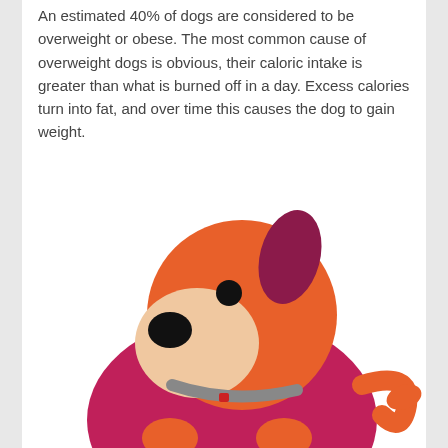An estimated 40% of dogs are considered to be overweight or obese. The most common cause of overweight dogs is obvious, their caloric intake is greater than what is burned off in a day. Excess calories turn into fat, and over time this causes the dog to gain weight.
[Figure (illustration): Cartoon illustration of an overweight orange and dark magenta/pink dog viewed from the side. The dog has a round orange head with a beige snout, a black nose, a black eye, and a dark magenta ear. It wears a gray collar with a small red tag. Its body is large and round in dark magenta/pink, with orange paws visible at the bottom. An orange tail extends to the right.]